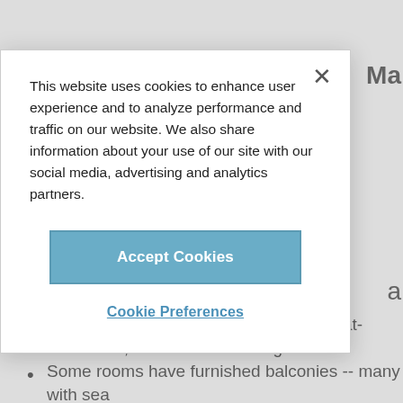[Figure (screenshot): Cookie consent modal dialog overlay on a travel/hotel website. The modal contains text about cookie usage, an 'Accept Cookies' button in teal/blue, and a 'Cookie Preferences' link. Behind the modal, partially visible page content includes a hotel name fragment 'Ma', a bullet list item about bright attractive rooms with minibars, flat-screen TVs, and air-conditioning, and another bullet about some rooms having furnished balconies.]
This website uses cookies to enhance user experience and to analyze performance and traffic on our website. We also share information about your use of our site with our social media, advertising and analytics partners.
Accept Cookies
Cookie Preferences
Bright, attractive rooms have minibars, flat-screen TVs, and air-conditioning
Some rooms have furnished balconies -- many with sea